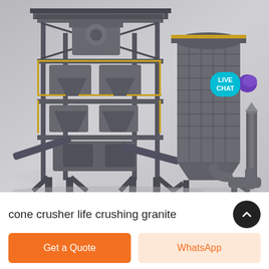[Figure (photo): 3D rendering of a large industrial cone crusher / crushing plant system with multi-level steel frame structure, conveyor belts, dust collector, and exhaust stack on a grey background. A 'LIVE CHAT' teal speech bubble badge with a purple chat icon is overlaid in the upper right of the image.]
cone crusher life crushing granite
Get a Quote
WhatsApp